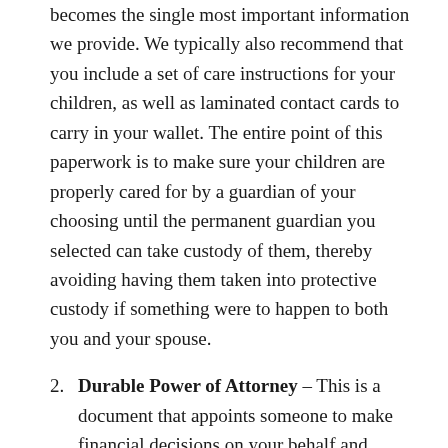becomes the single most important information we provide. We typically also recommend that you include a set of care instructions for your children, as well as laminated contact cards to carry in your wallet. The entire point of this paperwork is to make sure your children are properly cared for by a guardian of your choosing until the permanent guardian you selected can take custody of them, thereby avoiding having them taken into protective custody if something were to happen to both you and your spouse.
Durable Power of Attorney – This is a document that appoints someone to make financial decisions on your behalf and becomes effective immediately. It will remain in effect, even if you become